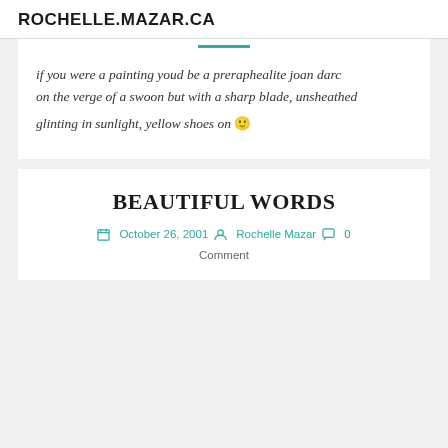ROCHELLE.MAZAR.CA
if you were a painting youd be a preraphealite joan darc on the verge of a swoon but with a sharp blade, unsheathed
glinting in sunlight, yellow shoes on 🙂
BEAUTIFUL WORDS
October 26, 2001  Rochelle Mazar  0 Comment